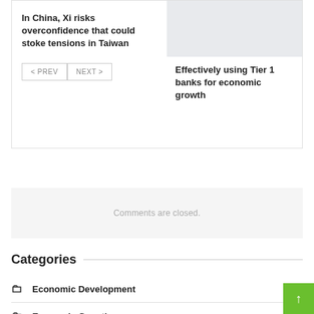In China, Xi risks overconfidence that could stoke tensions in Taiwan
Effectively using Tier 1 banks for economic growth
< PREV
NEXT >
Comments are closed.
Categories
Economic Development
Economic Growth